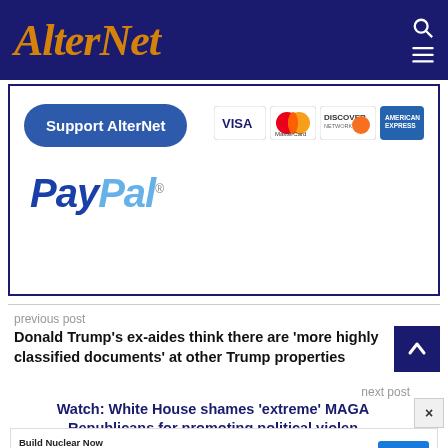AlterNet
[Figure (infographic): Support AlterNet donation box with Support AlterNet button, credit card logos (VISA, MasterCard, Discover, American Express), and PayPal logo]
previous post
Donald Trump's ex-aides think there are 'more highly classified documents' at other Trump properties
next post
Watch: White House shames 'extreme' MAGA Republicans for promoting political violen
[Figure (infographic): Advertisement: Build Nuclear Now - Advanced nuclear energy is a safe, zero-carbon solution - OPEN button]